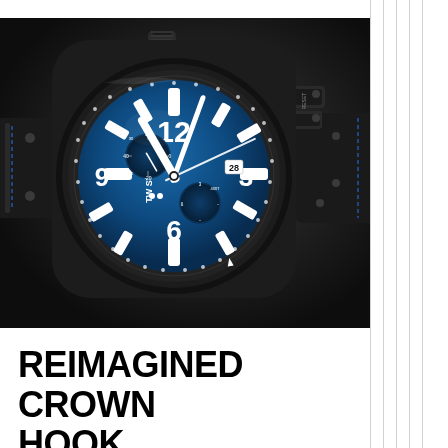[Figure (photo): Close-up photo of a TW Steel chronograph watch with a blue dial, large white Arabic numerals, white hands, black case and bezel, blue leather strap with stitching, and a crown hook mechanism visible on the right side. The watch displays sub-dials and the number 28 on a date window.]
REIMAGINED CROWN HOOK